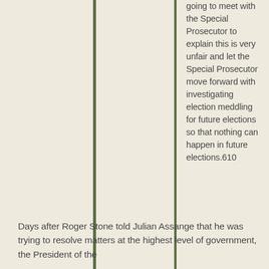going to meet with the Special Prosecutor to explain this is very unfair and let the Special Prosecutor move forward with investigating election meddling for future elections so that nothing can happen in future elections.610
Days after Roger Stone told Julian Assange that he was trying to resolve matters at the highest level of government, the President of the